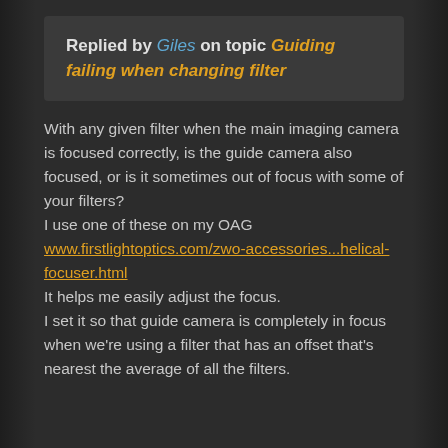Replied by Giles on topic Guiding failing when changing filter
With any given filter when the main imaging camera is focused correctly, is the guide camera also focused, or is it sometimes out of focus with some of your filters?
I use one of these on my OAG www.firstlightoptics.com/zwo-accessories...helical-focuser.html
It helps me easily adjust the focus.
I set it so that guide camera is completely in focus when we're using a filter that has an offset that's nearest the average of all the filters.